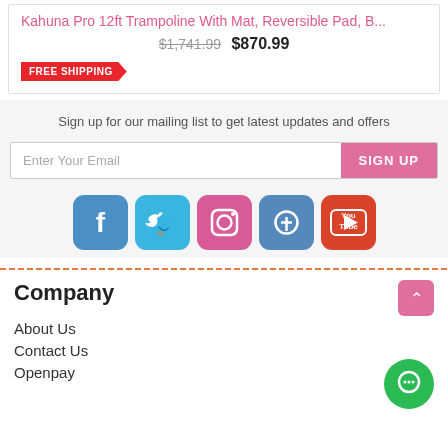Kahuna Pro 12ft Trampoline With Mat, Reversible Pad, B...
$1,741.99  $870.99
FREE SHIPPING
Sign up for our mailing list to get latest updates and offers
[Figure (infographic): Email signup bar with 'Enter Your Email' placeholder and pink 'SIGN UP' button]
[Figure (infographic): Row of 5 social media icons: Facebook (blue), Twitter (light blue), Instagram (pink), Pinterest (blue), YouTube (red)]
Company
About Us
Contact Us
Openpay